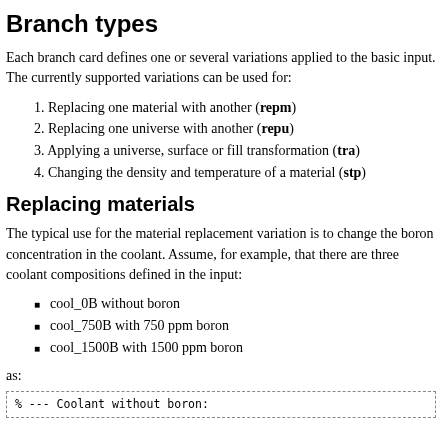Branch types
Each branch card defines one or several variations applied to the basic input. The currently supported variations can be used for:
1. Replacing one material with another (repm)
2. Replacing one universe with another (repu)
3. Applying a universe, surface or fill transformation (tra)
4. Changing the density and temperature of a material (stp)
Replacing materials
The typical use for the material replacement variation is to change the boron concentration in the coolant. Assume, for example, that there are three coolant compositions defined in the input:
cool_0B without boron
cool_750B with 750 ppm boron
cool_1500B with 1500 ppm boron
as:
% --- Coolant without boron: